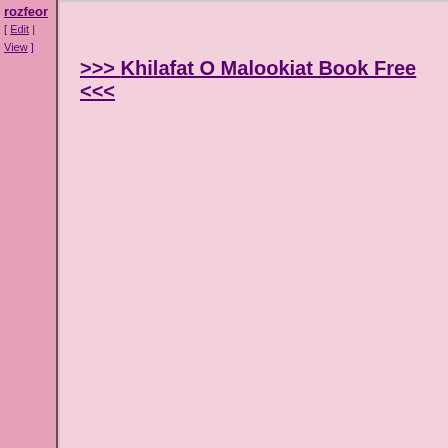rozfeor
[ Edit | View ]
>>> Khilafat O Malookiat Book Free <<<